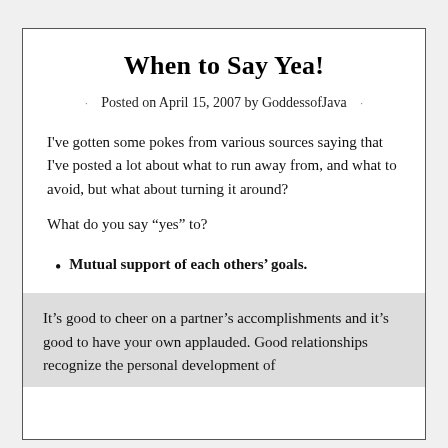When to Say Yea!
Posted on April 15, 2007 by GoddessofJava
I've gotten some pokes from various sources saying that I've posted a lot about what to run away from, and what to avoid, but what about turning it around?
What do you say “yes” to?
Mutual support of each others’ goals.
It’s good to cheer on a partner’s accomplishments and it’s good to have your own applauded. Good relationships recognize the personal development of